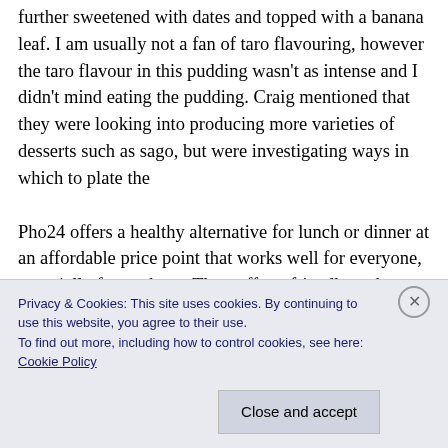further sweetened with dates and topped with a banana leaf. I am usually not a fan of taro flavouring, however the taro flavour in this pudding wasn't as intense and I didn't mind eating the pudding. Craig mentioned that they were looking into producing more varieties of desserts such as sago, but were investigating ways in which to plate the
Pho24 offers a healthy alternative for lunch or dinner at an affordable price point that works well for everyone, especially for students. The staff are friendly and you can tell that both Andrew and Craig really value the hard work and effort of each and every one of their...
Privacy & Cookies: This site uses cookies. By continuing to use this website, you agree to their use.
To find out more, including how to control cookies, see here: Cookie Policy
Close and accept